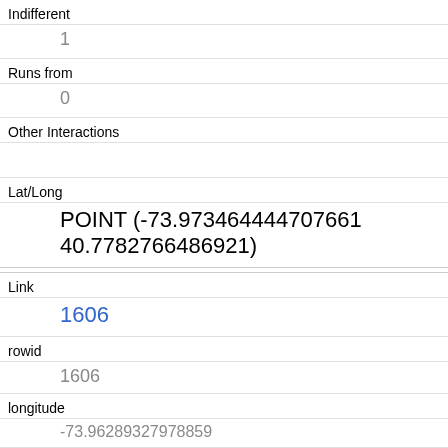| Indifferent | 1 |
| Runs from | 0 |
| Other Interactions |  |
| Lat/Long | POINT (-73.973464444707661 40.7782766486921) |
| Link | 1606 |
| rowid | 1606 |
| longitude | -73.96289327978859 |
| latitude | 40.7923116396365 |
| Unique Squirrel ID | 32B-PM-1010-05 |
| Hectare | 32B |